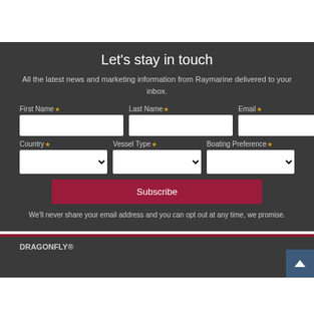Let's stay in touch
All the latest news and marketing information from Raymarine delivered to your inbox.
First Name Last Name Email Country Vessel Type Boating Preference
Subscribe
We'll never share your email address and you can opt out at any time, we promise.
DRAGONFLY®